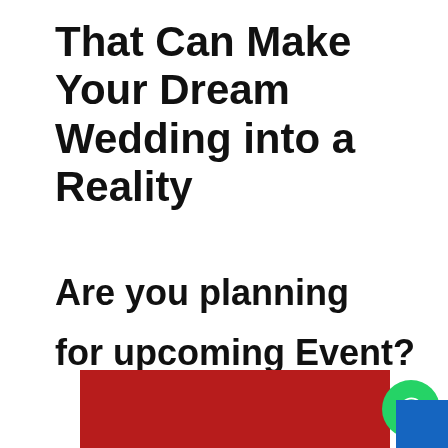That Can Make Your Dream Wedding into a Reality
Are you planning

for upcoming Event?
Are you looking for the Best Wedding Planner Services ? EVENTS MANAGEMENT
[Figure (other): Red banner/image block at the bottom of the page with a WhatsApp button icon and blue overlay in the corner]